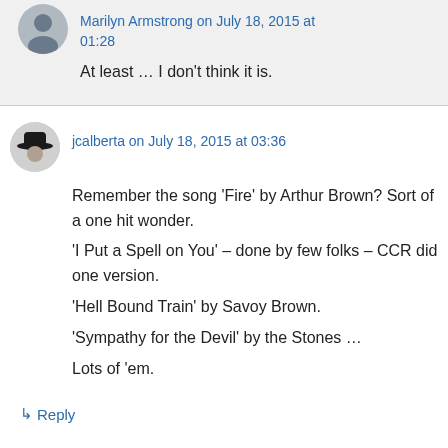Marilyn Armstrong on July 18, 2015 at 01:28
At least … I don't think it is.
jcalberta on July 18, 2015 at 03:36
Remember the song ‘Fire’ by Arthur Brown? Sort of a one hit wonder. ‘I Put a Spell on You’ – done by few folks – CCR did one version. ‘Hell Bound Train’ by Savoy Brown. ‘Sympathy for the Devil’ by the Stones … Lots of ‘em.
↳ Reply